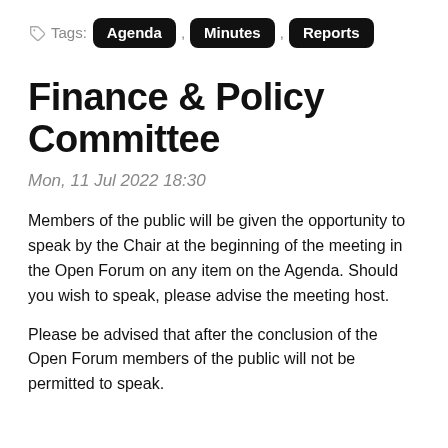Tags: Agenda, Minutes, Reports
Finance & Policy Committee
Mon, 11 Jul 2022 18:30
Members of the public will be given the opportunity to speak by the Chair at the beginning of the meeting in the Open Forum on any item on the Agenda. Should you wish to speak, please advise the meeting host.
Please be advised that after the conclusion of the Open Forum members of the public will not be permitted to speak.